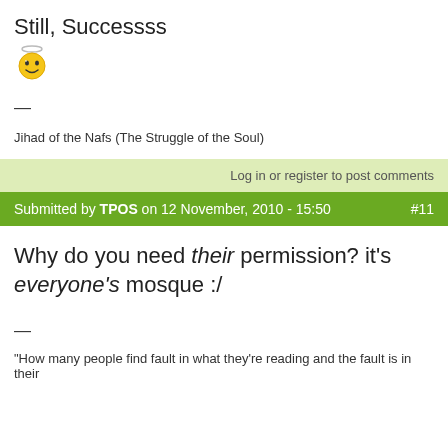Still, Successs
[Figure (illustration): Yellow smiley face emoji with halo/crown]
—
Jihad of the Nafs (The Struggle of the Soul)
Log in or register to post comments
Submitted by TPOS on 12 November, 2010 - 15:50   #11
Why do you need their permission? it's everyone's mosque :/
—
"How many people find fault in what they're reading and the fault is in their